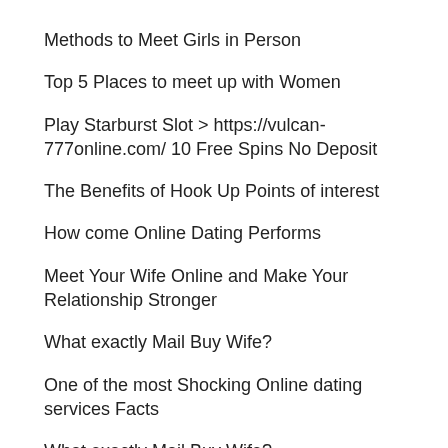Methods to Meet Girls in Person
Top 5 Places to meet up with Women
Play Starburst Slot > https://vulcan-777online.com/ 10 Free Spins No Deposit
The Benefits of Hook Up Points of interest
How come Online Dating Performs
Meet Your Wife Online and Make Your Relationship Stronger
What exactly Mail Buy Wife?
One of the most Shocking Online dating services Facts
What exactly Mail Buy Wife?
Where to get Love — 3 Suggestions to Make this Easier